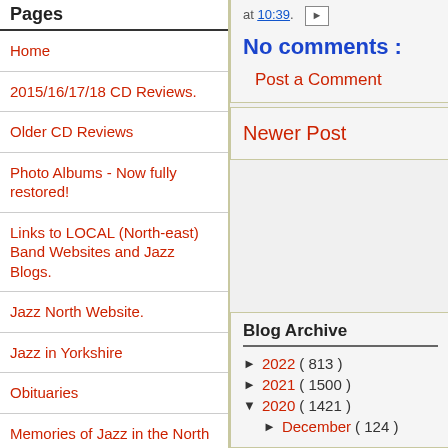Pages
Home
2015/16/17/18 CD Reviews.
Older CD Reviews
Photo Albums - Now fully restored!
Links to LOCAL (North-east) Band Websites and Jazz Blogs.
Jazz North Website.
Jazz in Yorkshire
Obituaries
Memories of Jazz in the North East
Complete Discs To Die For To Date
What They Say
at 10:39.
No comments :
Post a Comment
Newer Post
Blog Archive
► 2022 ( 813 )
► 2021 ( 1500 )
▼ 2020 ( 1421 )
► December ( 124 )